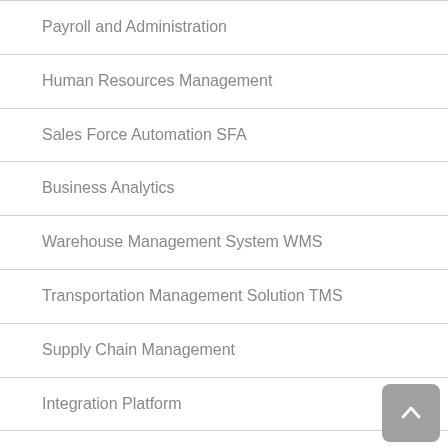Payroll and Administration
Human Resources Management
Sales Force Automation SFA
Business Analytics
Warehouse Management System WMS
Transportation Management Solution TMS
Supply Chain Management
Integration Platform
Dealer Management DMS